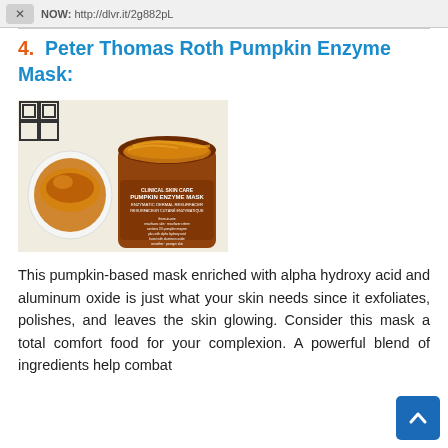NOW: http://dlvr.it/2g882pL
4.  Peter Thomas Roth Pumpkin Enzyme Mask:
[Figure (photo): Photo of Peter Thomas Roth Pumpkin Enzyme Mask product jar open with orange pumpkin enzyme mask inside, sitting on a black and white geometric patterned surface with a lid nearby showing product label text including CLINICAL SKIN CARE PUMPKIN ENZYME MASK ENZYMATIC DERMAL RESURFACER RESURFACEUR CUTANÉ ENZYMATIQUE]
This pumpkin-based mask enriched with alpha hydroxy acid and aluminum oxide is just what your skin needs since it exfoliates, polishes, and leaves the skin glowing. Consider this mask a total comfort food for your complexion. A powerful blend of ingredients help combat